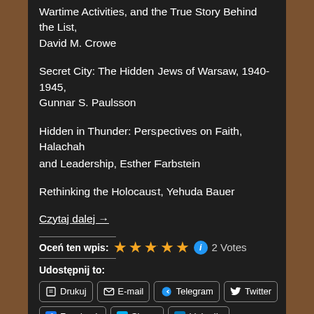Wartime Activities, and the True Story Behind the List, David M. Crowe
Secret City: The Hidden Jews of Warsaw, 1940-1945, Gunnar S. Paulsson
Hidden in Thunder: Perspectives on Faith, Halachah and Leadership, Esther Farbstein
Rethinking the Holocaust, Yehuda Bauer
Czytaj dalej →
Oceń ten wpis: ★★★★★ ℹ 2 Votes
Udostępnij to:
Drukuj | E-mail | Telegram | Twitter | Facebook | Skype | LinkedIn | WhatsApp | Pinterest | Pocket | Tumblr